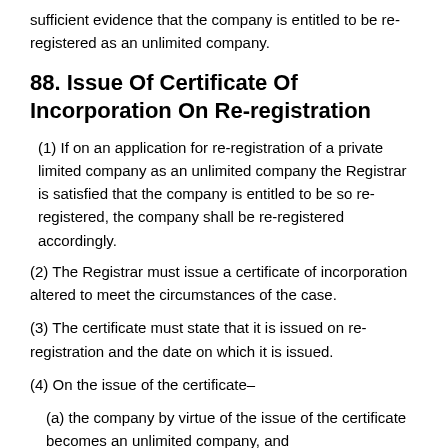sufficient evidence that the company is entitled to be re-registered as an unlimited company.
88. Issue Of Certificate Of Incorporation On Re-registration
(1) If on an application for re-registration of a private limited company as an unlimited company the Registrar is satisfied that the company is entitled to be so re-registered, the company shall be re-registered accordingly.
(2) The Registrar must issue a certificate of incorporation altered to meet the circumstances of the case.
(3) The certificate must state that it is issued on re-registration and the date on which it is issued.
(4) On the issue of the certificate–
(a) the company by virtue of the issue of the certificate becomes an unlimited company, and
(b) the changes in the company's name and articles take effect.